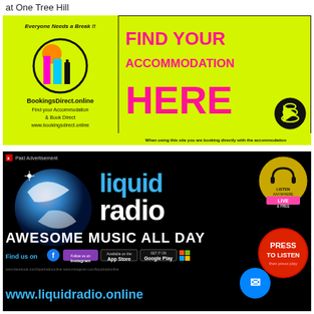at One Tree Hill
[Figure (illustration): BookingsDirect.online advertisement on yellow-green background. Left side has circular logo with buildings and text 'Everyone Needs a Break!!' and 'BookingsDirect.online Find your Accommodation & Book Direct www.bookingsdirect.online'. Right side has pink bold text 'FIND YOUR ACCOMMODATION HERE' with a click/cursor icon. Bottom text: 'When using this site you are booking directly with the accommodation']
[Figure (illustration): Liquid Radio advertisement on black background. Features blue and white 'liquid radio' logo text, a silver swoosh globe logo. Yellow headphones badge 'LISTEN ANYWHERE LIVE & FREE'. Red button 'PRESS TO LISTEN'. Text 'AWESOME MUSIC ALL DAY'. Social media icons: Facebook, Instagram, App Store, Google Play. Blue Messenger icon. URL: www.liquidradio.online. Small 'Paid Advertisement' label top left.]